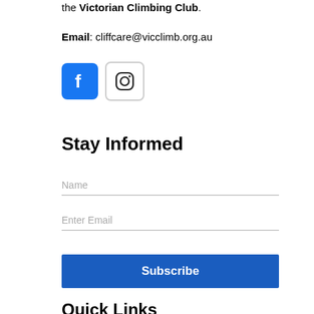the Victorian Climbing Club.
Email: cliffcare@vicclimb.org.au
[Figure (logo): Facebook and Instagram social media icons]
Stay Informed
Name
Enter Email
Subscribe
Quick Links